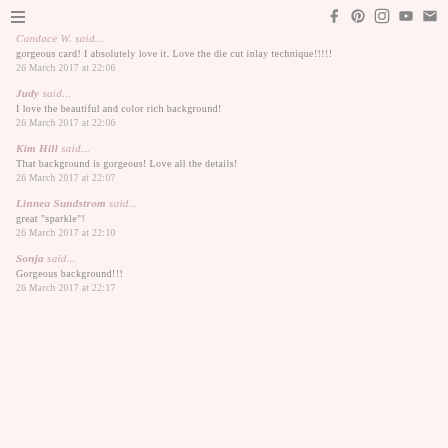≡  f  pinterest  instagram  youtube  mail
Candace W. said...
gorgeous card! I absolutely love it. Love the die cut inlay technique!!!!!
26 March 2017 at 22:06
Judy said...
I love the beautiful and color rich background!
26 March 2017 at 22:06
Kim Hill said...
That background is gorgeous! Love all the details!
26 March 2017 at 22:07
Linnea Sundstrom said...
great "sparkle"!
26 March 2017 at 22:10
Sonja said...
Gorgeous background!!!
26 March 2017 at 22:17